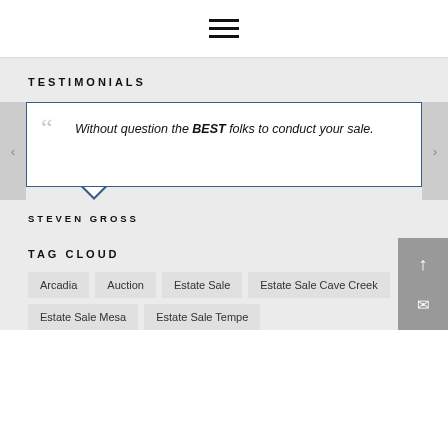≡ (hamburger menu icon)
TESTIMONIALS
Without question the BEST folks to conduct your sale.
STEVEN GROSS
TAG CLOUD
Arcadia
Auction
Estate Sale
Estate Sale Cave Creek
Estate Sale Mesa
Estate Sale Tempe